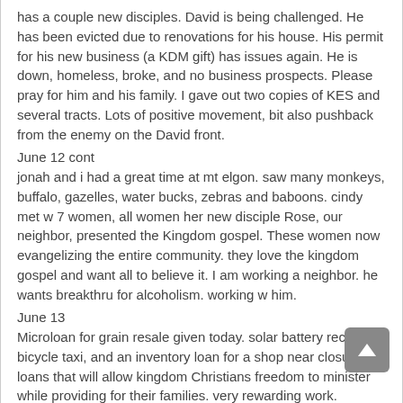has a couple new disciples. David is being challenged. He has been evicted due to renovations for his house. His permit for his new business (a KDM gift) has issues again. He is down, homeless, broke, and no business prospects. Please pray for him and his family. I gave out two copies of KES and several tracts. Lots of positive movement, bit also pushback from the enemy on the David front.
June 12 cont
jonah and i had a great time at mt elgon. saw many monkeys, buffalo, gazelles, water bucks, zebras and baboons. cindy met w 7 women, all women her new disciple Rose, our neighbor, presented the Kingdom gospel. These women now evangelizing the entire community. they love the kingdom gospel and want all to believe it. I am working a neighbor. he wants breakthru for alcoholism. working w him.
June 13
Microloan for grain resale given today. solar battery recharge, bicycle taxi, and an inventory loan for a shop near closure. all loans that will allow kingdom Christians freedom to minister while providing for their families. very rewarding work.
June 14
shared gosp of kingdom w group of 22 widows. all received. tomorrow teaching discipleship and house church.
June 15
follow up in mumius. two new house churches and three more